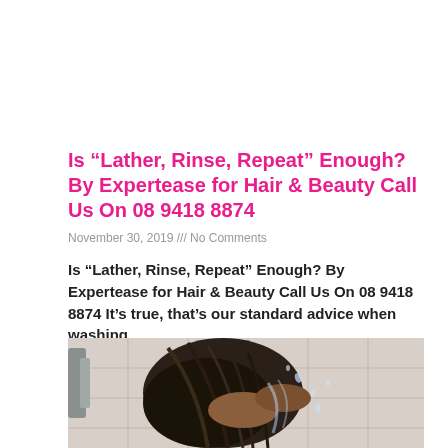Is “Lather, Rinse, Repeat” Enough? By Expertease for Hair & Beauty Call Us On 08 9418 8874
November 30, 2019 /// No Comments
Is “Lather, Rinse, Repeat” Enough? By Expertease for Hair & Beauty Call Us On 08 9418 8874 It’s true, that’s our standard advice when washing
Read More »
[Figure (photo): Photo of a person washing/lathering dark hair in a shower, water splashing, hands visible, tiled background]